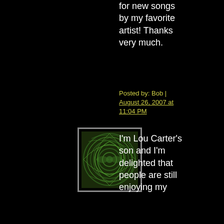for new songs by my favorite artist! Thanks very much.
Posted by: Bob | August 26, 2007 at 11:04 PM
[Figure (illustration): Green swirling circular pattern avatar image with white border]
I'm Lou Carter's son and I'm delighted that people are still enjoying my